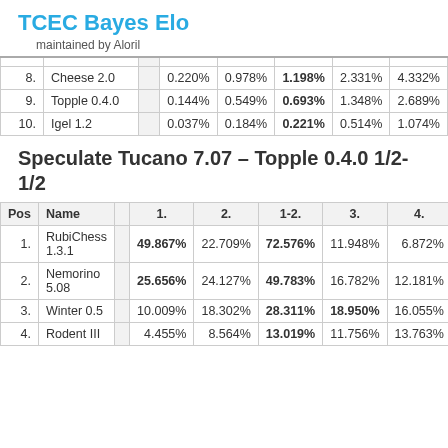TCEC Bayes Elo
maintained by Aloril
|  | Name |  | 1. | 2. | 1-2. | 3. | 4. |
| --- | --- | --- | --- | --- | --- | --- | --- |
| 8. | Cheese 2.0 |  | 0.220% | 0.978% | 1.198% | 2.331% | 4.332% |
| 9. | Topple 0.4.0 |  | 0.144% | 0.549% | 0.693% | 1.348% | 2.689% |
| 10. | Igel 1.2 |  | 0.037% | 0.184% | 0.221% | 0.514% | 1.074% |
Speculate Tucano 7.07 – Topple 0.4.0 1/2-1/2
| Pos | Name |  | 1. | 2. | 1-2. | 3. | 4. |
| --- | --- | --- | --- | --- | --- | --- | --- |
| 1. | RubiChess 1.3.1 |  | 49.867% | 22.709% | 72.576% | 11.948% | 6.872% |
| 2. | Nemorino 5.08 |  | 25.656% | 24.127% | 49.783% | 16.782% | 12.181% |
| 3. | Winter 0.5 |  | 10.009% | 18.302% | 28.311% | 18.950% | 16.055% |
| 4. | Rodent III |  | 4.455% | 8.564% | 13.019% | 11.756% | 13.763% |